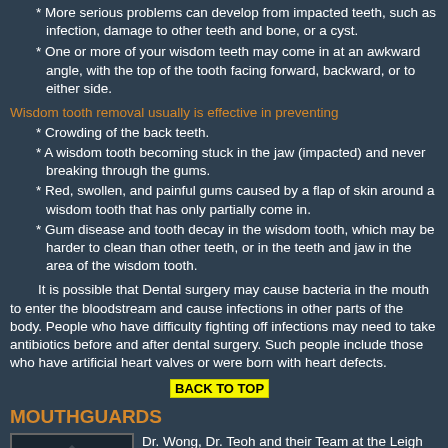* More serious problems can develop from impacted teeth, such as infection, damage to other teeth and bone, or a cyst.
* One or more of your wisdom teeth may come in at an awkward angle, with the top of the tooth facing forward, backward, or to either side.
Wisdom tooth removal usually is effective in preventing
* Crowding of the back teeth.
* A wisdom tooth becoming stuck in the jaw (impacted) and never breaking through the gums.
* Red, swollen, and painful gums caused by a flap of skin around a wisdom tooth that has only partially come in.
* Gum disease and tooth decay in the wisdom tooth, which may be harder to clean than other teeth, or in the teeth and jaw in the area of the wisdom tooth.
It is possible that Dental surgery may cause bacteria in the mouth to enter the bloodstream and cause infections in other parts of the body. People who have difficulty fighting off infections may need to take antibiotics before and after dental surgery. Such people include those who have artificial heart valves or were born with heart defects.
BACK TO TOP
MOUTHGUARDS
[Figure (photo): Partial image of teeth or dental subject, cropped at bottom of page]
Dr. Wong, Dr. Teoh and their Team at the Leigh Smile Center for General & Cosmetic Dentistry have recently